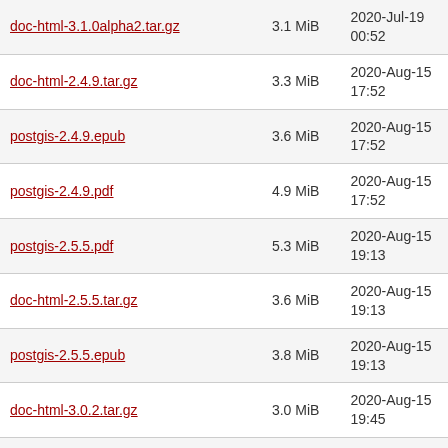| Filename | Size | Date |
| --- | --- | --- |
| doc-html-3.1.0alpha2.tar.gz | 3.1 MiB | 2020-Jul-19 00:52 |
| doc-html-2.4.9.tar.gz | 3.3 MiB | 2020-Aug-15 17:52 |
| postgis-2.4.9.epub | 3.6 MiB | 2020-Aug-15 17:52 |
| postgis-2.4.9.pdf | 4.9 MiB | 2020-Aug-15 17:52 |
| postgis-2.5.5.pdf | 5.3 MiB | 2020-Aug-15 19:13 |
| doc-html-2.5.5.tar.gz | 3.6 MiB | 2020-Aug-15 19:13 |
| postgis-2.5.5.epub | 3.8 MiB | 2020-Aug-15 19:13 |
| doc-html-3.0.2.tar.gz | 3.0 MiB | 2020-Aug-15 19:45 |
| postgis-3.0.2.epub | 3.3 MiB | 2020-Aug-15 19:45 |
| postgis-3.0.2.pdf | 4.7 MiB | 2020-Aug-15 19:45 |
| doc-html-3.1.0alpha3.tar.gz | 3.1 MiB | 2020-Nov-19 07:36 |